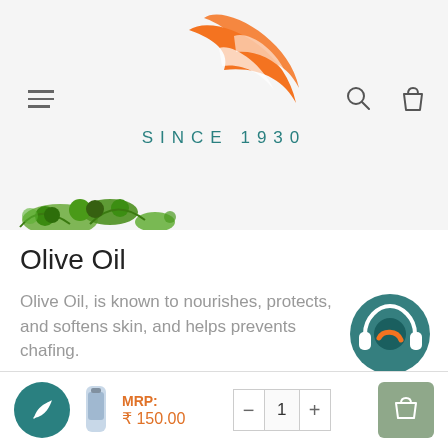[Figure (logo): Orange flame/feather logo with two swoosh shapes above text 'SINCE 1930' in teal spaced letters. Hamburger menu icon on left, search and bag icons on right.]
[Figure (photo): Green olives with leaves, partially visible at bottom of header area]
Olive Oil
Olive Oil, is known to nourishes, protects, and softens skin, and helps prevents chafing.
[Figure (logo): CARE badge: circular teal icon with headphone and logo mark, orange CARE text below]
Description
[Figure (other): Bottom bar with teal circle leaf button, product thumbnail, MRP: ₹ 150.00 in orange, quantity selector showing 1 with minus and plus, and grey-green cart/bag button]